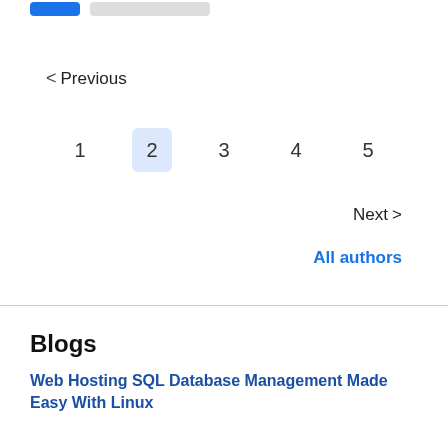< Previous
1  2  3  4  5
Next >
All authors
Blogs
Web Hosting SQL Database Management Made Easy With Linux